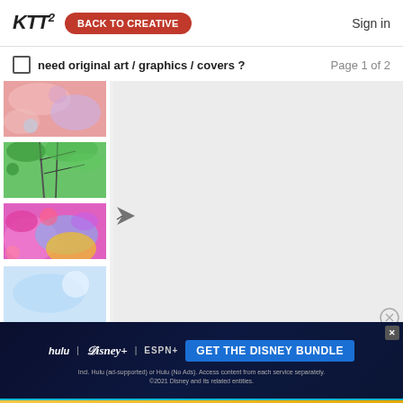KTT2  BACK TO CREATIVE  Sign in
need original art / graphics / covers ?  Page 1 of 2
[Figure (photo): Pink and blue abstract/blurry floral thumbnail image]
[Figure (photo): Green tree canopy photographed from below thumbnail]
[Figure (photo): Vivid pink, blue and yellow abstract colorful art thumbnail]
[Figure (photo): Partial thumbnail of blue/white abstract image]
[Figure (photo): Partial thumbnail of white/grey abstract image]
[Figure (other): Disney Bundle advertisement banner: hulu, Disney+, ESPN+. GET THE DISNEY BUNDLE. Incl. Hulu (ad-supported) or Hulu (No Ads). Access content from each service separately. ©2021 Disney and its related entities.]